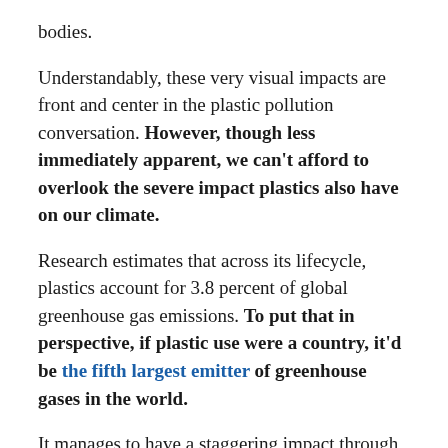bodies.
Understandably, these very visual impacts are front and center in the plastic pollution conversation. However, though less immediately apparent, we can't afford to overlook the severe impact plastics also have on our climate.
Research estimates that across its lifecycle, plastics account for 3.8 percent of global greenhouse gas emissions. To put that in perspective, if plastic use were a country, it'd be the fifth largest emitter of greenhouse gases in the world.
It manages to have a staggering impact through each emissions-intensive step of its lifecycle — a process that is well-worth breaking down.